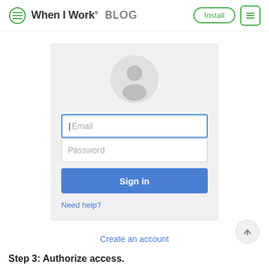[Figure (logo): When I Work Blog logo with green circle icon, site name, and navigation buttons (Install, hamburger menu)]
[Figure (screenshot): Login form with avatar placeholder, Email field (focused, blue border), Password field, Sign in button (blue), and Need help? link]
Create an account
Step 3: Authorize access.